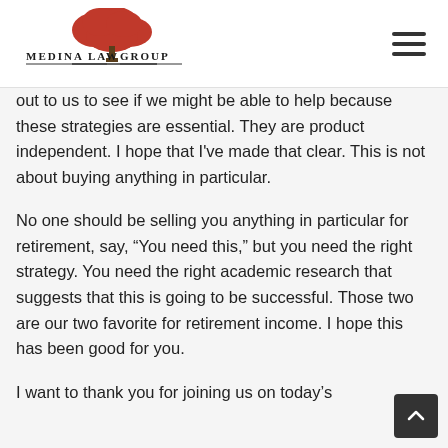Medina Law Group
out to us to see if we might be able to help because these strategies are essential. They are product independent. I hope that I've made that clear. This is not about buying anything in particular.
No one should be selling you anything in particular for retirement, say, “You need this,” but you need the right strategy. You need the right academic research that suggests that this is going to be successful. Those two are our two favorite for retirement income. I hope this has been good for you.
I want to thank you for joining us on today’s